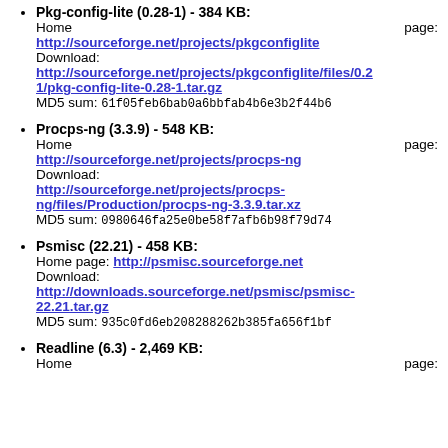Pkg-config-lite (0.28-1) - 384 KB:
Home page: http://sourceforge.net/projects/pkgconfiglite
Download: http://sourceforge.net/projects/pkgconfiglite/files/0.28-1/pkg-config-lite-0.28-1.tar.gz
MD5 sum: 61f05feb6bab0a6bbfab4b6e3b2f44b6
Procps-ng (3.3.9) - 548 KB:
Home page: http://sourceforge.net/projects/procps-ng
Download: http://sourceforge.net/projects/procps-ng/files/Production/procps-ng-3.3.9.tar.xz
MD5 sum: 0980646fa25e0be58f7afb6b98f79d74
Psmisc (22.21) - 458 KB:
Home page: http://psmisc.sourceforge.net
Download: http://downloads.sourceforge.net/psmisc/psmisc-22.21.tar.gz
MD5 sum: 935c0fd6eb208288262b385fa656f1bf
Readline (6.3) - 2,469 KB:
Home page: